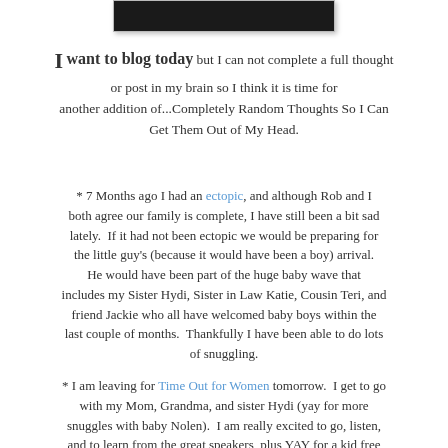[Figure (photo): A dark photograph strip at the top of the page, appears to be a partially cropped photo with dark/night scene]
I want to blog today but I can not complete a full thought or post in my brain so I think it is time for another addition of...Completely Random Thoughts So I Can Get Them Out of My Head.
* 7 Months ago I had an ectopic, and although Rob and I both agree our family is complete, I have still been a bit sad lately.  If it had not been ectopic we would be preparing for the little guy's (because it would have been a boy) arrival.  He would have been part of the huge baby wave that includes my Sister Hydi, Sister in Law Katie, Cousin Teri, and friend Jackie who all have welcomed baby boys within the last couple of months.  Thankfully I have been able to do lots of snuggling.
* I am leaving for Time Out for Women tomorrow.  I get to go with my Mom, Grandma, and sister Hydi (yay for more snuggles with baby Nolen).  I am really excited to go, listen, and to learn from the great speakers, plus YAY for a kid free